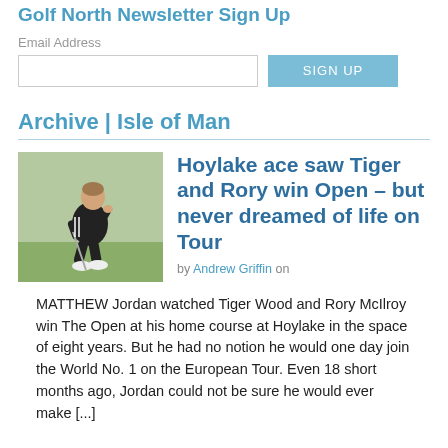Golf North Newsletter Sign Up
Email Address
Archive | Isle of Man
Hoylake ace saw Tiger and Rory win Open – but never dreamed of life on Tour
by Andrew Griffin on
[Figure (photo): A golfer crouching down to read a putt on a golf course, dressed in black.]
MATTHEW Jordan watched Tiger Wood and Rory McIlroy win The Open at his home course at Hoylake in the space of eight years. But he had no notion he would one day join the World No. 1 on the European Tour. Even 18 short months ago, Jordan could not be sure he would ever make [...]